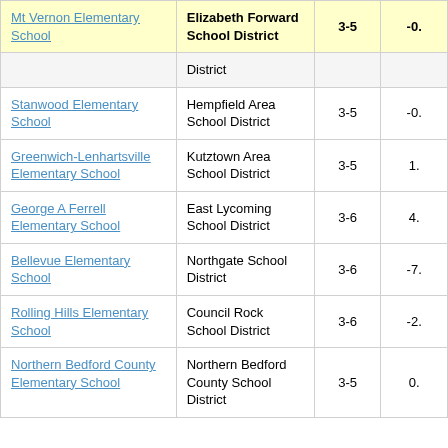| School | District | Grades | Value |
| --- | --- | --- | --- |
| Mt Vernon Elementary School | Elizabeth Forward School District | 3-5 | -0. |
|  | District |  |  |
| Stanwood Elementary School | Hempfield Area School District | 3-5 | -0. |
| Greenwich-Lenhartsville Elementary School | Kutztown Area School District | 3-5 | 1. |
| George A Ferrell Elementary School | East Lycoming School District | 3-6 | 4. |
| Bellevue Elementary School | Northgate School District | 3-6 | -7. |
| Rolling Hills Elementary School | Council Rock School District | 3-6 | -2. |
| Northern Bedford County Elementary School | Northern Bedford County School District | 3-5 | 0. |